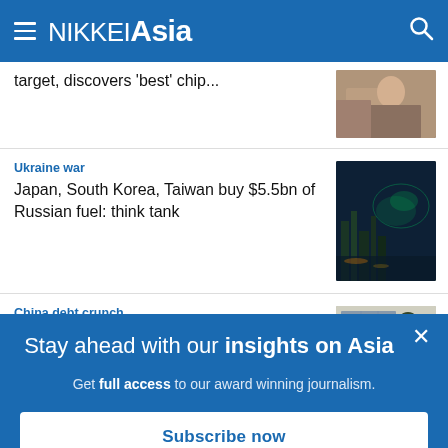NIKKEI Asia
target, discovers 'best' chip...
Ukraine war
Japan, South Korea, Taiwan buy $5.5bn of Russian fuel: think tank
China debt crunch
China...
Stay ahead with our insights on Asia
Get full access to our award winning journalism.
Subscribe now